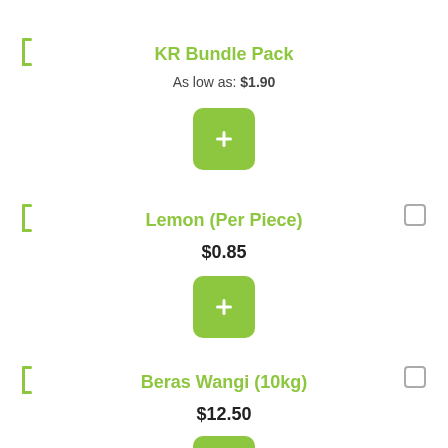KR Bundle Pack
As low as: $1.90
Lemon (Per Piece)
$0.85
Beras Wangi (10kg)
$12.50